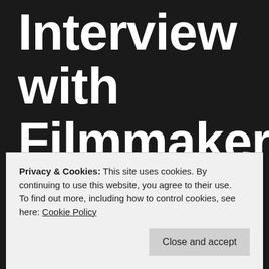Interview with Filmmaker Theresa Desautels (YOU Beco)
Privacy & Cookies: This site uses cookies. By continuing to use this website, you agree to their use. To find out more, including how to control cookies, see here: Cookie Policy
Close and accept